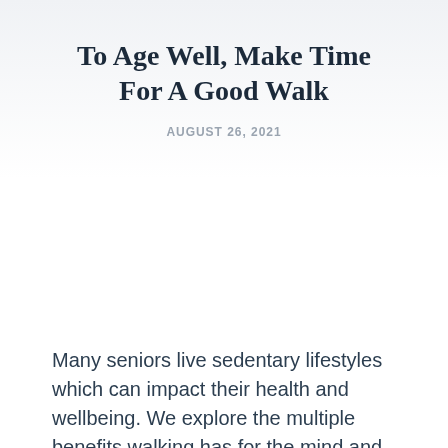To Age Well, Make Time For A Good Walk
AUGUST 26, 2021
[Figure (photo): Image placeholder area (photo related to walking/seniors, not visible in this crop)]
Many seniors live sedentary lifestyles which can impact their health and wellbeing. We explore the multiple benefits walking has for the mind and